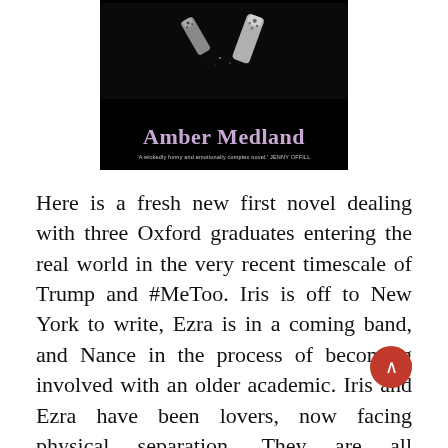[Figure (illustration): Book cover for 'Amber Medland' — dark/black background with salt shakers at top, large lilac/purple author name text, and a blurb credit to Jenny Offill at the bottom.]
Here is a fresh new first novel dealing with three Oxford graduates entering the real world in the very recent timescale of Trump and #MeToo. Iris is off to New York to write, Ezra is in a coming band, and Nance in the process of becoming involved with an older academic. Iris and Ezra have been lovers, now facing physical separation. They are all privileged in their lively intelligence, continuing financial support and pure